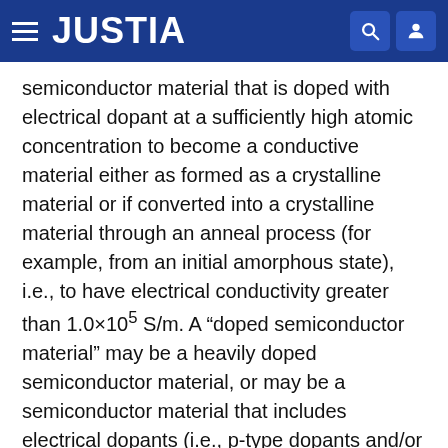JUSTIA
semiconductor material that is doped with electrical dopant at a sufficiently high atomic concentration to become a conductive material either as formed as a crystalline material or if converted into a crystalline material through an anneal process (for example, from an initial amorphous state), i.e., to have electrical conductivity greater than 1.0×10⁵ S/m. A “doped semiconductor material” may be a heavily doped semiconductor material, or may be a semiconductor material that includes electrical dopants (i.e., p-type dopants and/or n-type dopants) at a concentration that provides electrical conductivity in the range from 1.0×10⁻⁵ S/m to 1.0×10⁵ S/m. An “intrinsic semiconductor material” refers to a semiconductor material that is not doped with electrical dopants. Thus, a semiconductor material may be semiconducting or conductive, and may be an intrinsic semiconductor material or a doped